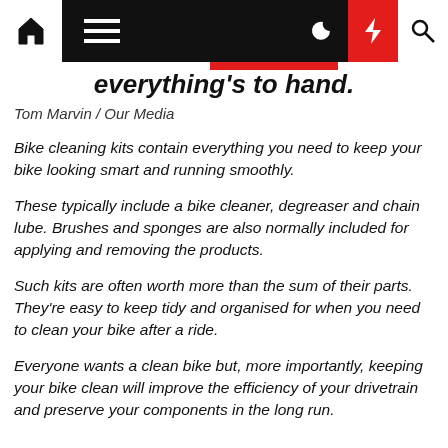Navigation bar with home, menu, moon, lightning, search icons
everything's to hand.
Tom Marvin / Our Media
Bike cleaning kits contain everything you need to keep your bike looking smart and running smoothly.
These typically include a bike cleaner, degreaser and chain lube. Brushes and sponges are also normally included for applying and removing the products.
Such kits are often worth more than the sum of their parts. They're easy to keep tidy and organised for when you need to clean your bike after a ride.
Everyone wants a clean bike but, more importantly, keeping your bike clean will improve the efficiency of your drivetrain and preserve your components in the long run.